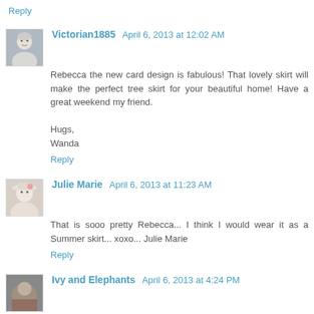Reply
Victorian1885  April 6, 2013 at 12:02 AM
Rebecca the new card design is fabulous! That lovely skirt will make the perfect tree skirt for your beautiful home! Have a great weekend my friend.

Hugs,
Wanda
Reply
Julie Marie  April 6, 2013 at 11:23 AM
That is sooo pretty Rebecca... I think I would wear it as a Summer skirt... xoxo... Julie Marie
Reply
Ivy and Elephants  April 6, 2013 at 4:24 PM